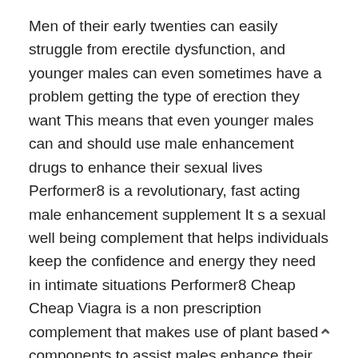Men of their early twenties can easily struggle from erectile dysfunction, and younger males can even sometimes have a problem getting the type of erection they want This means that even younger males can and should use male enhancement drugs to enhance their sexual lives Performer8 is a revolutionary, fast acting male enhancement supplement It s a sexual well being complement that helps individuals keep the confidence and energy they need in intimate situations Performer8 Cheap Cheap Viagra is a non prescription complement that makes use of plant based components to assist males enhance their stamina and sex life After all, gone are the days in which male enhancement drugs had been solely targeted on growing the scale of the penis.
Viagra and Cheap Cheap Viagra Cialis is our two most popular gadgets used by tens of millions of individuals for Erectile Dysfunction The item has become a broadly acknowledged way of life medicate taken Cheap Cheap